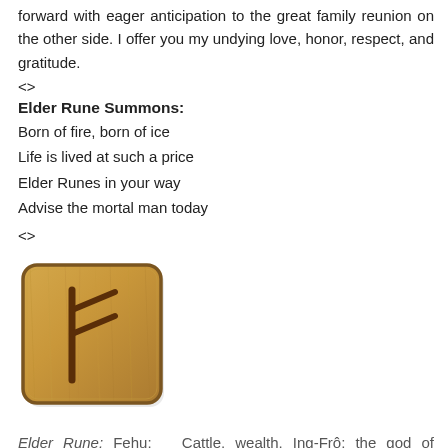forward with eager anticipation to the great family reunion on the other side. I offer you my undying love, honor, respect, and gratitude.
<>
Elder Rune Summons:
Born of fire, born of ice
Life is lived at such a price
Elder Runes in your way
Advise the mortal man today
<>
[Figure (illustration): A wooden tile with rounded corners featuring the Elder Futhark rune Fehu carved/painted in dark brown on a light tan/wood-grain background.]
Elder Rune: Fehu: Cattle, wealth, Ing-Frô; the god of abundance, Audhumla; the primal bovine, the ability to create and maintain wealth and the accompanying power, creative forces, financial security, good